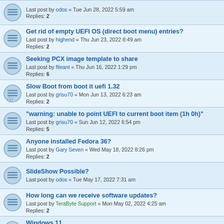Last post by odos « Tue Jun 28, 2022 5:59 am
Replies: 2
Get rid of empty UEFI OS (direct boot menu) entries?
Last post by highend « Thu Jun 23, 2022 8:49 am
Replies: 2
Seeking PCX image template to share
Last post by fileant « Thu Jun 16, 2022 1:29 pm
Replies: 6
Slow Boot from boot it uefi 1.32
Last post by grisu70 « Mon Jun 13, 2022 6:23 am
Replies: 2
"warning: unable to point UEFI to current boot item (1h 0h)"
Last post by grisu70 « Sun Jun 12, 2022 6:54 pm
Replies: 5
Anyone installed Fedora 36?
Last post by Gary Seven « Wed May 18, 2022 8:26 pm
Replies: 2
SlideShow Possible?
Last post by odos « Tue May 17, 2022 7:31 am
How long can we receive software updates?
Last post by TeraByte Support « Mon May 02, 2022 4:25 am
Replies: 2
Windows 11
Last post by TeraByte Support « Sat Apr 09, 2022 3:33 pm
Replies: 1
4Tb multiboot
Last post by atomeromu « Thu Apr 07, 2022 6:51 am